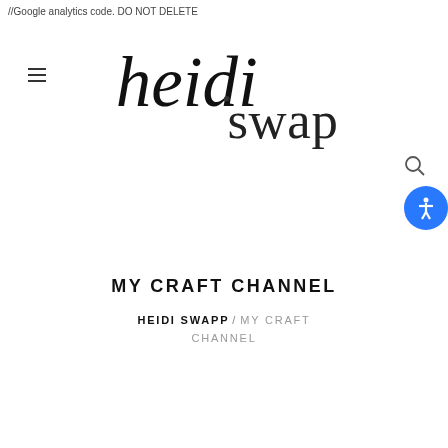//Google analytics code. DO NOT DELETE
[Figure (logo): Heidi Swapp cursive/script logo]
MY CRAFT CHANNEL
HEIDI SWAPP / MY CRAFT CHANNEL